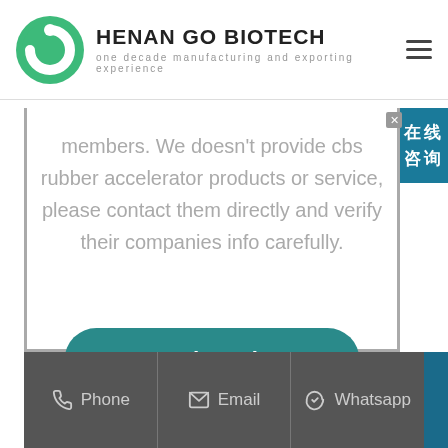HENAN GO BIOTECH — one decade manufacturing and exporting experience
members. We doesn't provide cbs rubber accelerator products or service, please contact them directly and verify their companies info carefully.
Send Inquiry
Phone   Email   Whatsapp